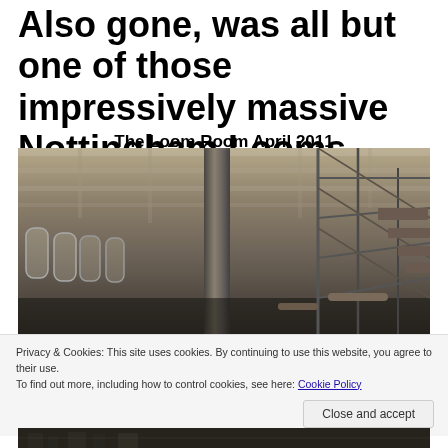Also gone, was all but one of those impressively massive Nottingham Looms.
The Loom Room April 2011
[Figure (photo): Interior of an abandoned industrial loom room showing concrete ceiling beams, a large central metal column, arched windows on the left wall, and metal scaffolding/machinery on the right side. The room appears empty and in a state of disuse.]
Privacy & Cookies: This site uses cookies. By continuing to use this website, you agree to their use.
To find out more, including how to control cookies, see here: Cookie Policy
[Figure (photo): Partial view of another room in the industrial building, showing dark interior with machinery visible at the bottom of the page.]